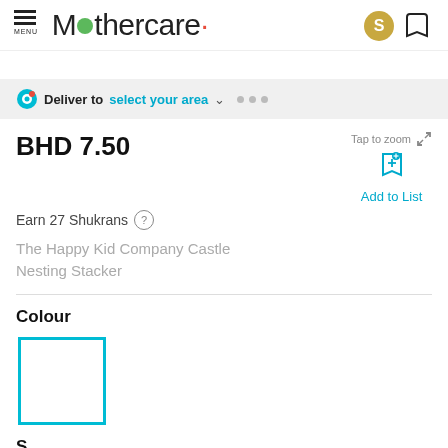Mothercare
Deliver to select your area
BHD 7.50
Earn 27 Shukrans
The Happy Kid Company Castle Nesting Stacker
Colour
[Figure (other): Selected colour swatch box with cyan/teal border]
Size